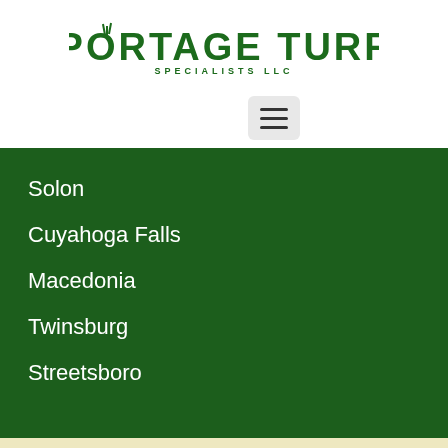[Figure (logo): Portage Turf Specialists LLC logo in green text]
[Figure (other): Hamburger menu button (three horizontal lines)]
Solon
Cuyahoga Falls
Macedonia
Twinsburg
Streetsboro
[Figure (logo): OLCA Ohio Lawn Care Association logo with green grass icon and tagline: Improving the environment through better lawn care]
[Figure (other): reCAPTCHA badge with Privacy and Terms links]